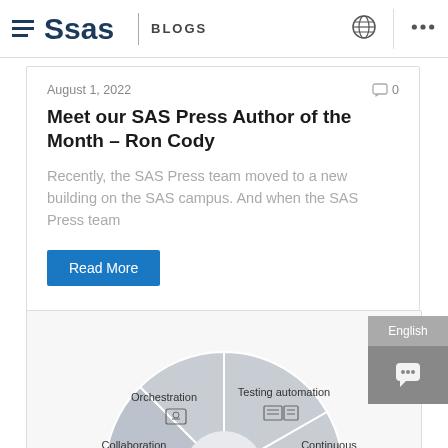SAS BLOGS
August 1, 2022
Meet our SAS Press Author of the Month – Ron Cody
Recently, the SAS Press team moved to a new building on the SAS campus. And when the SAS Press team
Read More
Suzanne Morgen
[Figure (infographic): Circular diagram showing DevOps/MLOps categories: Orchestration, Testing automation, Continuous delivery, Collaboration, with icons for each segment]